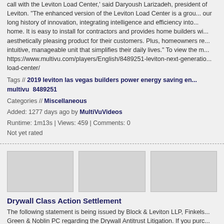call with the Leviton Load Center,' said Daryoush Larizadeh, president of Leviton. 'The enhanced version of the Leviton Load Center is a groundbreaking product in our long history of innovation, integrating intelligence and efficiency into the modern home. It is easy to install for contractors and provides home builders with an aesthetically pleasing product for their customers. Plus, homeowners receive an intuitive, manageable unit that simplifies their daily lives.' To view the multimedia, go to: https://www.multivu.com/players/English/8489251-leviton-next-generation-load-center/
Tags // 2019 leviton las vegas builders power energy saving en... multivu 8489251
Categories // Miscellaneous
Added: 1277 days ago by MultiVuVideos
Runtime: 1m13s | Views: 459 | Comments: 0
Not yet rated
[Figure (photo): Three thumbnail image placeholders in a row]
Drywall Class Action Settlement
The following statement is being issued by Block & Leviton LLP, Finkels... Green & Noblin PC regarding the Drywall Antitrust Litigation. If you purchased INDIRECTLY from one or more of the companies listed below, your rights... proposed Settlements A proposed class settlement totaling $5.2 million... defendant in In re Domestic Drywall Antitrust Litigation, MDL No. 2437 a... in the U.S. District Court for the Eastern District of Pennsylvania. To view... go to: http://www.multivu.com/players/English/7975351-drywall-class-ac...
Tags // law drywall home settlement cost sue lawsuit money cl...